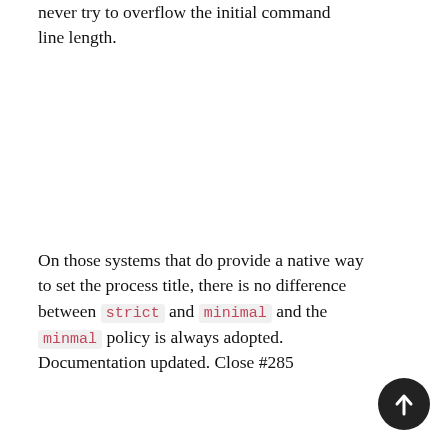never try to overflow the initial command line length.
On those systems that do provide a native way to set the process title, there is no difference between strict and minimal and the minmal policy is always adopted. Documentation updated. Close #285